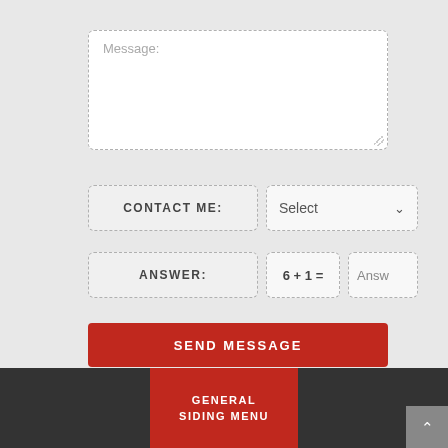[Figure (screenshot): A web contact form UI showing a message textarea with placeholder 'Message:', a 'CONTACT ME:' label with a 'Select' dropdown, an 'ANSWER:' label with a math CAPTCHA '6 + 1 =' and an answer input box, a red 'SEND MESSAGE' button, a dark footer bar with a red 'GENERAL SIDING MENU' label, and a grey scroll-to-top button.]